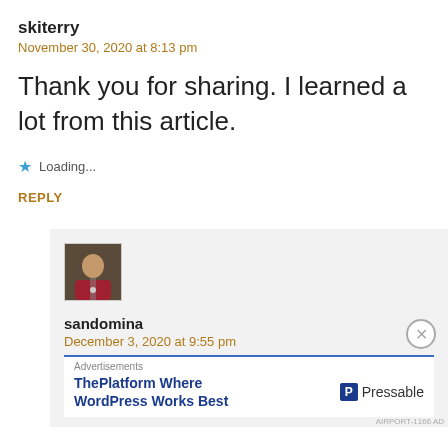skiterry
November 30, 2020 at 8:13 pm
Thank you for sharing. I learned a lot from this article.
★ Loading...
REPLY
[Figure (photo): Avatar photo of sandomina showing a person holding a microphone]
sandomina
December 3, 2020 at 9:55 pm
Advertisements
ThePlatform Where WordPress Works Best
P Pressable